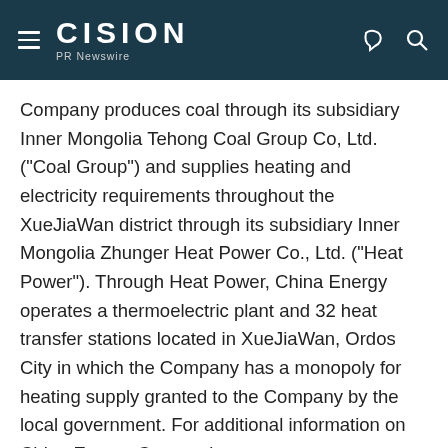CISION PR Newswire
Company produces coal through its subsidiary Inner Mongolia Tehong Coal Group Co, Ltd. ("Coal Group") and supplies heating and electricity requirements throughout the XueJiaWan district through its subsidiary Inner Mongolia Zhunger Heat Power Co., Ltd. ("Heat Power"). Through Heat Power, China Energy operates a thermoelectric plant and 32 heat transfer stations located in XueJiaWan, Ordos City in which the Company has a monopoly for heating supply granted to the Company by the local government. For additional information on China Energy Corporation see http://www.ceccec.com.